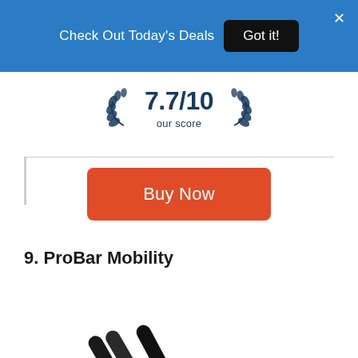Check Out Today's Deals  Got it!
[Figure (infographic): Score badge showing 7.7/10 our score with laurel leaves on both sides]
[Figure (illustration): Buy Now button in orange/red]
9. ProBar Mobility
[Figure (photo): ProBar Mobility product photo showing black cylindrical bars/tubes]